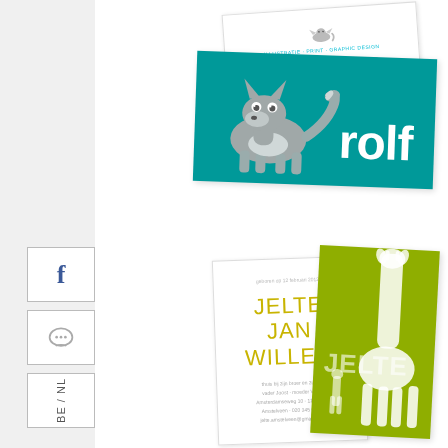[Figure (illustration): A collection of illustrated birth announcement and business cards. Top: white business card for 'rolf claessens' with a small fox illustration. Middle: teal/turquoise card with a cartoon wolf/fox illustration and large white text 'rolf'. Bottom left: white birth announcement card with olive/yellow text 'JELTE JAN WILLEM'. Bottom right: olive/green card with white giraffe silhouette and text 'JELTE'.]
BE / NL